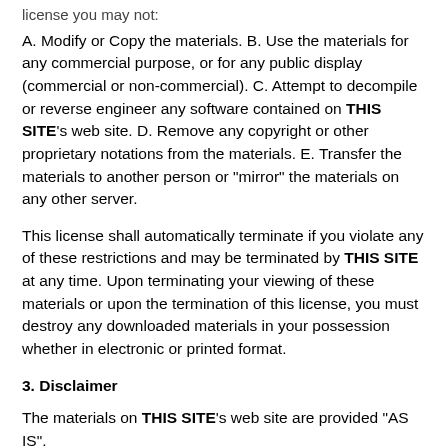license you may not:
A. Modify or Copy the materials. B. Use the materials for any commercial purpose, or for any public display (commercial or non-commercial). C. Attempt to decompile or reverse engineer any software contained on THIS SITE’s web site. D. Remove any copyright or other proprietary notations from the materials. E. Transfer the materials to another person or “mirror” the materials on any other server.
This license shall automatically terminate if you violate any of these restrictions and may be terminated by THIS SITE at any time. Upon terminating your viewing of these materials or upon the termination of this license, you must destroy any downloaded materials in your possession whether in electronic or printed format.
3. Disclaimer
The materials on THIS SITE’s web site are provided “AS IS”. We use cookies on our website to give you the most